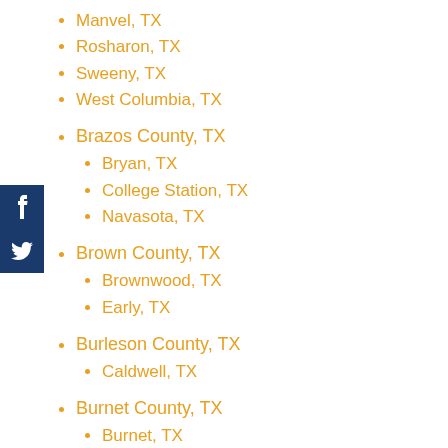Manvel, TX
Rosharon, TX
Sweeny, TX
West Columbia, TX
Brazos County, TX
Bryan, TX
College Station, TX
Navasota, TX
Brown County, TX
Brownwood, TX
Early, TX
Burleson County, TX
Caldwell, TX
Burnet County, TX
Burnet, TX